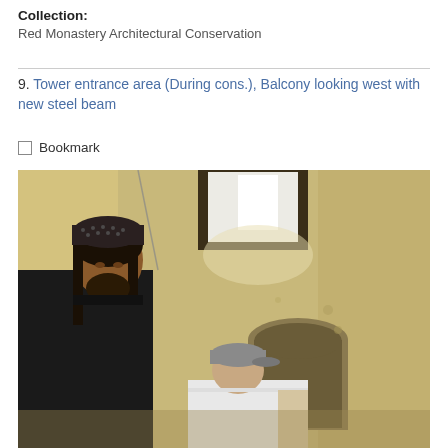Collection:
Red Monastery Architectural Conservation
9. Tower entrance area (During cons.), Balcony looking west with new steel beam
☐ Bookmark
[Figure (photo): Interior of a tower entrance area during conservation. Two people are visible: one standing person with long dark hair and a patterned dark cap wearing a black jacket, and one shorter person wearing a gray cap and white shirt, bending forward. The walls are plastered in a warm yellow-beige tone. A bright window opening is visible at the top center. An arched niche is visible in the background wall. The scene documents architectural conservation work at the Red Monastery.]